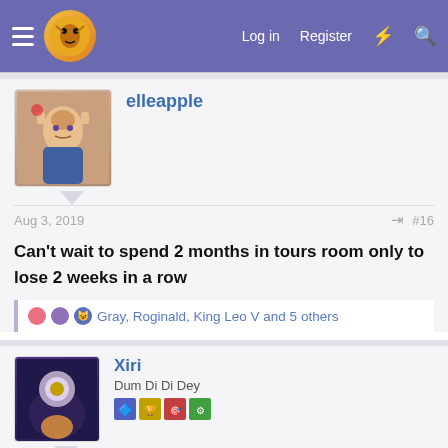Log in  Register
elleapple
Aug 3, 2019  #16
Can't wait to spend 2 months in tours room only to lose 2 weeks in a row
Gray, Roginald, King Leo V and 5 others
Xiri
Dum Di Di Dey
Aug 16, 2019  #16
The first cycle of the TLT III qualifying period has ended. Congratulations to our first 16 qualifiers!